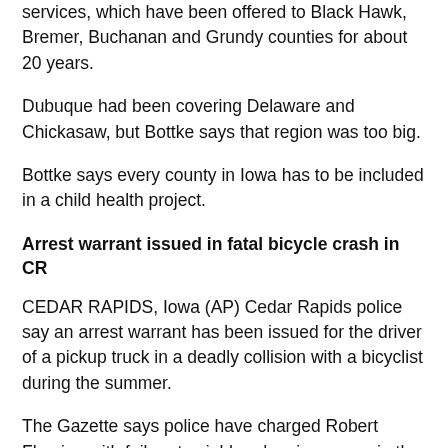services, which have been offered to Black Hawk, Bremer, Buchanan and Grundy counties for about 20 years.
Dubuque had been covering Delaware and Chickasaw, but Bottke says that region was too big.
Bottke says every county in Iowa has to be included in a child health project.
Arrest warrant issued in fatal bicycle crash in CR
CEDAR RAPIDS, Iowa (AP) Cedar Rapids police say an arrest warrant has been issued for the driver of a pickup truck in a deadly collision with a bicyclist during the summer.
The Gazette says police have charged Robert Fleming with failure to yield and no insurance in the July 29 crash that killed Susan DeSotel, of Cedar Rapids.